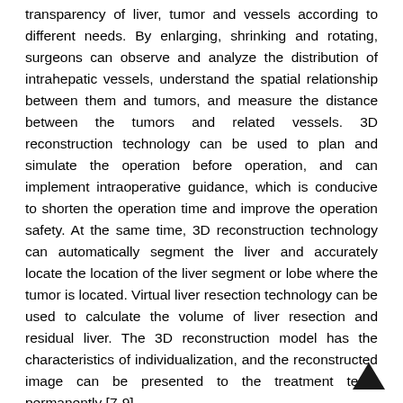transparency of liver, tumor and vessels according to different needs. By enlarging, shrinking and rotating, surgeons can observe and analyze the distribution of intrahepatic vessels, understand the spatial relationship between them and tumors, and measure the distance between the tumors and related vessels. 3D reconstruction technology can be used to plan and simulate the operation before operation, and can implement intraoperative guidance, which is conducive to shorten the operation time and improve the operation safety. At the same time, 3D reconstruction technology can automatically segment the liver and accurately locate the location of the liver segment or lobe where the tumor is located. Virtual liver resection technology can be used to calculate the volume of liver resection and residual liver. The 3D reconstruction model has the characteristics of individualization, and the reconstructed image can be presented to the treatment team permanently [7-9].